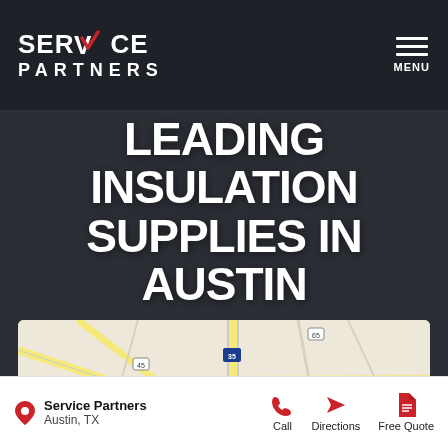SERVICE PARTNERS — MENU
LEADING INSULATION SUPPLIES IN AUSTIN
REQUEST A QUOTE
[Figure (map): Google Maps view showing Austin, TX area with a red location pin near Austin's Park N Pizza. Streets, highways (I-35, Route 45, Route 1, Route 1325, Route 65) visible.]
Service Partners
Austin, TX
Call   Directions   Free Quote